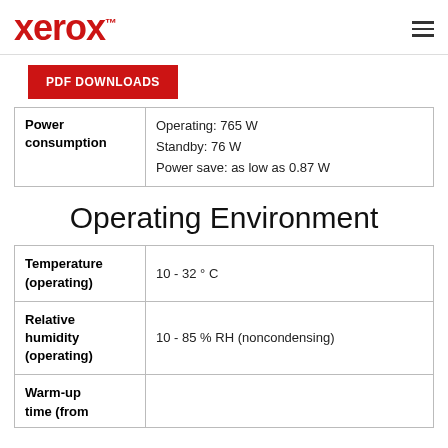Xerox™
PDF DOWNLOADS
| Power consumption |  |
| --- | --- |
| Power consumption | Operating: 765 W
Standby: 76 W
Power save: as low as 0.87 W |
Operating Environment
|  |  |
| --- | --- |
| Temperature (operating) | 10 - 32 ° C |
| Relative humidity (operating) | 10 - 85 % RH (noncondensing) |
| Warm-up time (from |  |